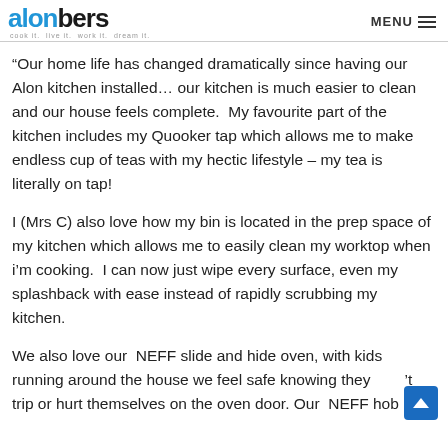alonbers cook it. live it. work it. dream it. MENU
“Our home life has changed dramatically since having our Alon kitchen installed… our kitchen is much easier to clean and our house feels complete.  My favourite part of the kitchen includes my Quooker tap which allows me to make endless cup of teas with my hectic lifestyle – my tea is literally on tap!
I (Mrs C) also love how my bin is located in the prep space of my kitchen which allows me to easily clean my worktop when i’m cooking.  I can now just wipe every surface, even my splashback with ease instead of rapidly scrubbing my kitchen.
We also love our  NEFF slide and hide oven, with kids running around the house we feel safe knowing they won’t trip or hurt themselves on the oven door. Our  NEFF hob is